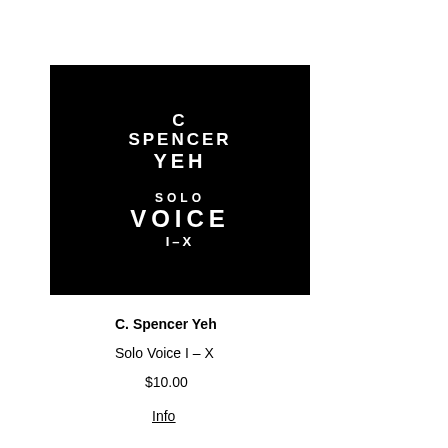[Figure (illustration): Black square album cover for C. Spencer Yeh - Solo Voice I-X. White text on black background reads: C / SPENCER / YEH (top section), then SOLO / VOICE / I-X (bottom section).]
C. Spencer Yeh
Solo Voice I – X
$10.00
Info